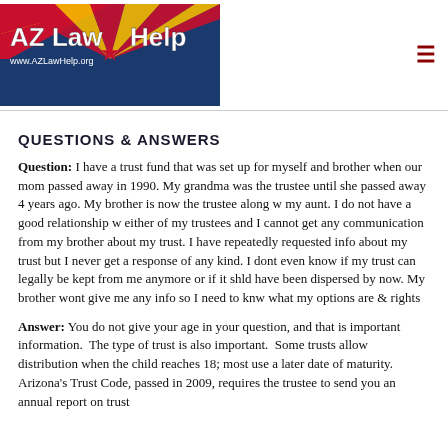[Figure (logo): AZ LawHelp logo with Arizona flag background and URL www.AZLawHelp.org]
QUESTIONS & ANSWERS
Question: I have a trust fund that was set up for myself and brother when our mom passed away in 1990. My grandma was the trustee until she passed away 4 years ago. My brother is now the trustee along w my aunt. I do not have a good relationship w either of my trustees and I cannot get any communication from my brother about my trust. I have repeatedly requested info about my trust but I never get a response of any kind. I dont even know if my trust can legally be kept from me anymore or if it shld have been dispersed by now. My brother wont give me any info so I need to knw what my options are & rights
Answer: You do not give your age in your question, and that is important information. The type of trust is also important. Some trusts allow distribution when the child reaches 18; most use a later date of maturity. Arizona's Trust Code, passed in 2009, requires the trustee to send you an annual report on trust